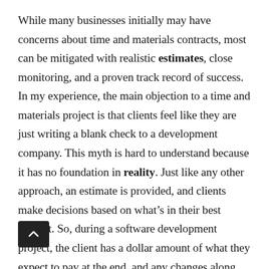While many businesses initially may have concerns about time and materials contracts, most can be mitigated with realistic estimates, close monitoring, and a proven track record of success. In my experience, the main objection to a time and materials project is that clients feel like they are just writing a blank check to a development company. This myth is hard to understand because it has no foundation in reality. Just like any other approach, an estimate is provided, and clients make decisions based on what's in their best interest. So, during a software development project, the client has a dollar amount of what they expect to pay at the end, and any changes along the way will affect the final price based on what is or isn't approved.

Not all software companies are created equal so using agile development with time and materials doesn't eliminate the